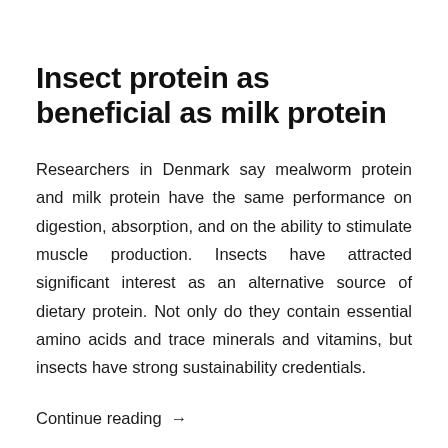Insect protein as beneficial as milk protein
Researchers in Denmark say mealworm protein and milk protein have the same performance on digestion, absorption, and on the ability to stimulate muscle production. Insects have attracted significant interest as an alternative source of dietary protein. Not only do they contain essential amino acids and trace minerals and vitamins, but insects have strong sustainability credentials.
Continue reading →